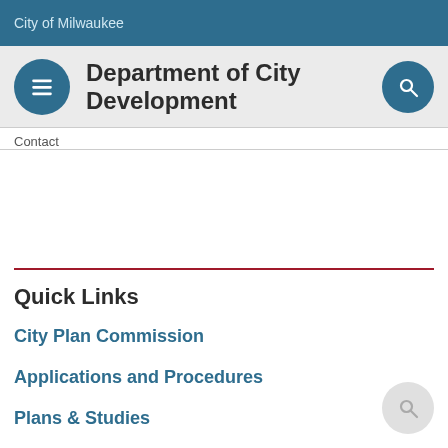City of Milwaukee
Department of City Development
Contact
Quick Links
City Plan Commission
Applications and Procedures
Plans & Studies
Urban Design